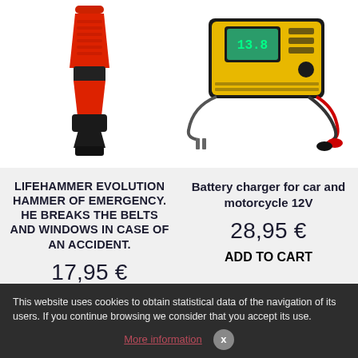[Figure (photo): Red and black emergency lifehammer tool]
[Figure (photo): Yellow and black battery charger for car and motorcycle 12V with cables]
LIFEHAMMER EVOLUTION HAMMER OF EMERGENCY. HE BREAKS THE BELTS AND WINDOWS IN CASE OF AN ACCIDENT.
Battery charger for car and motorcycle 12V
17,95 €
28,95 €
ADD TO CART
This website uses cookies to obtain statistical data of the navigation of its users. If you continue browsing we consider that you accept its use.
More information